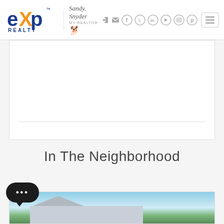eXp Realty — Sandy Snyder My Realtor — navigation header
[Figure (screenshot): White content area with horizontal divider line, partially visible]
In The Neighborhood
[Figure (photo): House photo partially visible at bottom of page showing rooftop, trees, and blue sky]
[Figure (other): Chat bubble widget with ellipsis (three dots) in dark rounded pill shape at bottom left]